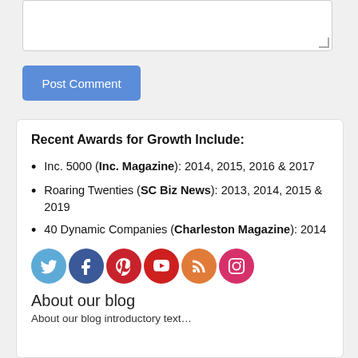[Figure (screenshot): Textarea input box for comment]
Post Comment
Recent Awards for Growth Include:
Inc. 5000 (Inc. Magazine): 2014, 2015, 2016 & 2017
Roaring Twenties (SC Biz News): 2013, 2014, 2015 & 2019
40 Dynamic Companies (Charleston Magazine): 2014
[Figure (illustration): Social media icons row: Twitter, Facebook, Pinterest, YouTube, RSS, Instagram]
About our blog
About our blog introductory text (partially visible)